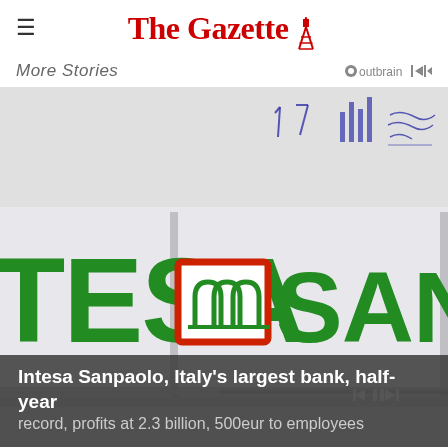The Gazette
More Stories
[Figure (photo): Intesa Sanpaolo bank branch exterior sign showing 'TESA' and 'SANPAOLO' lettering in green with the bank's logo (red-bordered square with arches) in the center. Background shows white/grey building facade with handwritten notes visible at top.]
Intesa Sanpaolo, Italy's largest bank, half-year record, profits at 2.3 billion, 500eur to employees